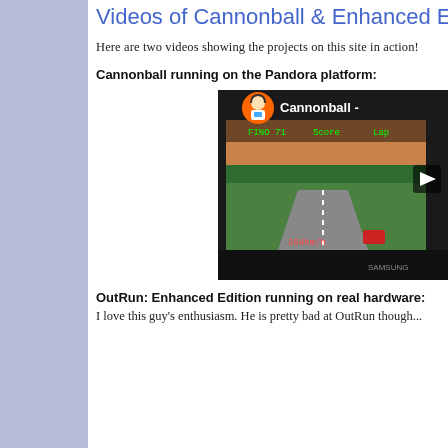Videos of Cannonball & Enhanced Ed...
Here are two videos showing the projects on this site in action!
Cannonball running on the Pandora platform:
[Figure (screenshot): YouTube video thumbnail showing Cannonball running on a Samsung monitor on the Pandora platform, with a retro racing game (OutRun style) on screen. The video thumbnail includes a YouTube channel icon and the title 'Cannonball -' visible.]
OutRun: Enhanced Edition running on real hardware:
I love this guy's enthusiasm. He is pretty bad at OutRun though...